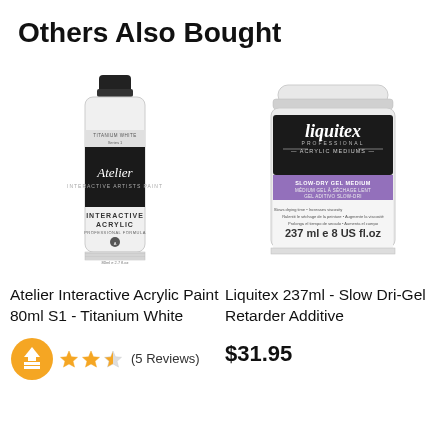Others Also Bought
[Figure (photo): Atelier Interactive Acrylic paint tube, white with black label, 80ml]
[Figure (photo): Liquitex 237ml Slow Dri-Gel Retarder Additive jar, white with black and purple label]
Atelier Interactive Acrylic Paint 80ml S1 - Titanium White
Liquitex 237ml - Slow Dri-Gel Retarder Additive
(5 Reviews)
$31.95